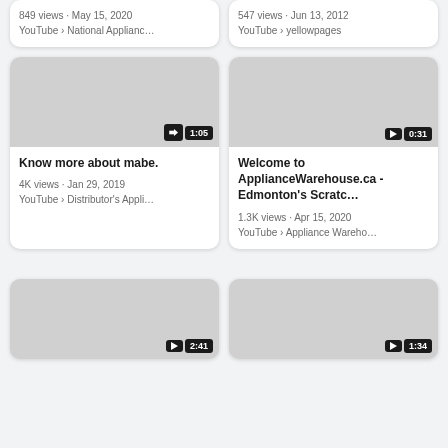849 views · May 15, 2020
YouTube › National Applianc…
547 views · Jun 13, 2012
YouTube › yellowpages
[Figure (screenshot): Video thumbnail placeholder (gray) with redirect icon badge and duration badge 1:05]
Know more about mabe.
4K views · Jan 29, 2019
YouTube › Distributor's Appli…
[Figure (screenshot): Video thumbnail placeholder (gray) with play icon badge and duration badge 0:31]
Welcome to ApplianceWarehouse.ca - Edmonton's Scratc…
1.3K views · Apr 15, 2020
YouTube › Appliance Wareho…
[Figure (screenshot): Video thumbnail placeholder (gray) with play icon badge and duration badge 2:41]
[Figure (screenshot): Video thumbnail placeholder (gray) with play icon badge and duration badge 1:34]